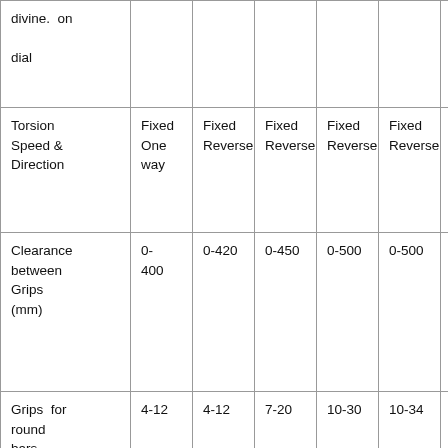| divine.  on dial |  |  |  |  |  |  |
| Torsion Speed & Direction | Fixed One way | Fixed Reverse | Fixed Reverse | Fixed Reverse | Fixed Reverse |  |
| Clearance between Grips (mm) | 0-400 | 0-420 | 0-450 | 0-500 | 0-500 |  |
| Grips  for round bars (mm) | 4-12 | 4-12 | 7-20 | 10-30 | 10-34 |  |
| Grips  for flat  bars | 1-5 | 2-8 | 3-10 | 5-12 | 5-15 |  |